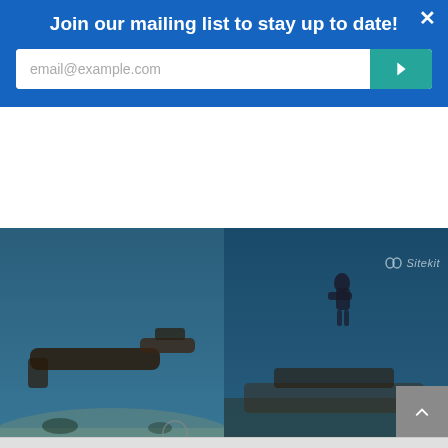Join our mailing list to stay up to date!
email@example.com
[Figure (photo): Underwater photograph showing a submerged cannon or anchor on sandy seabed with blue water]
[Figure (photo): Underwater photograph showing a scuba diver near a submerged wreck with Sitekit watermark]